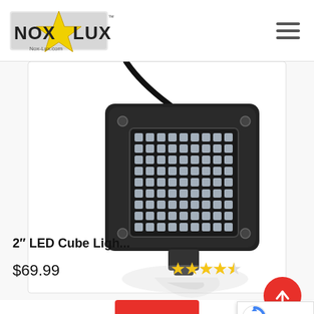[Figure (logo): Nox-Lux brand logo with star and yellow/black text, Nox-Lux.com tagline]
[Figure (photo): 2 inch LED cube light bar product photo on white background with reflection, black housing with LED matrix lens]
2″ LED Cube Ligh...
$69.99
[Figure (other): 4.5 star rating displayed as yellow stars]
[Figure (other): Red circular scroll-to-top button with upward arrow]
[Figure (other): Google reCAPTCHA badge - Privacy · Terms]